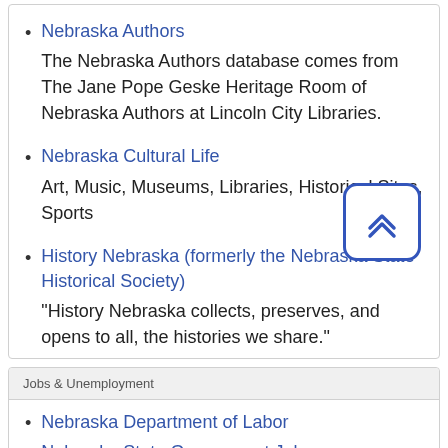Nebraska Authors
The Nebraska Authors database comes from The Jane Pope Geske Heritage Room of Nebraska Authors at Lincoln City Libraries.
Nebraska Cultural Life
Art, Music, Museums, Libraries, Historical Sites, Sports
History Nebraska (formerly the Nebraska State Historical Society)
"History Nebraska collects, preserves, and opens to all, the histories we share."
Jobs & Unemployment
Nebraska Department of Labor
Nebraska State Government Jobs